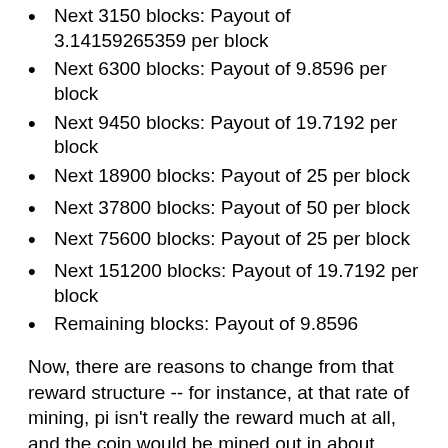Next 3150 blocks: Payout of 3.14159265359 per block
Next 6300 blocks: Payout of 9.8596 per block
Next 9450 blocks: Payout of 19.7192 per block
Next 18900 blocks: Payout of 25 per block
Next 37800 blocks: Payout of 50 per block
Next 75600 blocks: Payout of 25 per block
Next 151200 blocks: Payout of 19.7192 per block
Remaining blocks: Payout of 9.8596
Now, there are reasons to change from that reward structure -- for instance, at that rate of mining, pi isn't really the reward much at all, and the coin would be mined out in about three years (give or take). But there's a less benevolent reason to